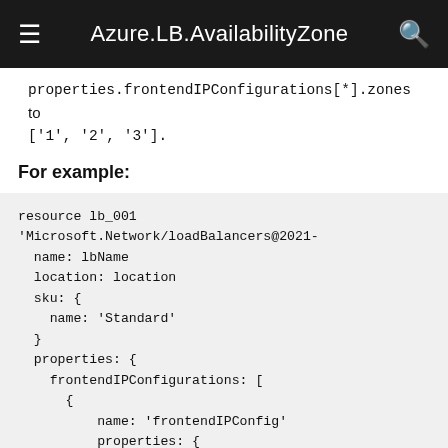Azure.LB.AvailabilityZone
properties.frontendIPConfigurations[*].zones to ['1', '2', '3'].
For example:
resource lb_001 'Microsoft.Network/loadBalancers@2021-
  name: lbName
  location: location
  sku: {
    name: 'Standard'
  }
  properties: {
    frontendIPConfigurations: [
      {
          name: 'frontendIPConfig'
          properties: {
            privateIPAllocationMethod: 'Dynamic'
            subnet: {
                id: vnet.properties.subnets[1].id
            }